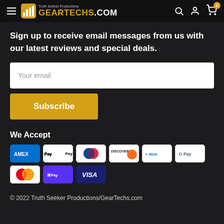Truth Seeker Productions GEARTECHS.COM
Sign up to receive email messages from us with our latest reviews and special deals.
Your email
Subscribe
We Accept
[Figure (other): Payment method icons: AMEX, Apple Pay, Diners Club, Discover, Meta Pay, Google Pay, Mastercard, Shop Pay, Visa]
© 2022 Truth Seeker Productions/GearTechs.com